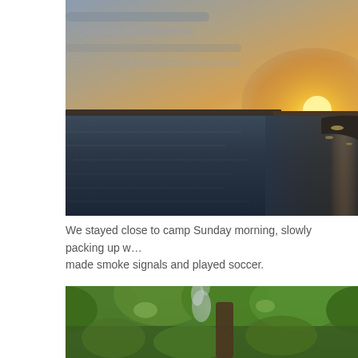[Figure (photo): Sunset over a large lake or body of water. The sun is low on the horizon to the right, casting golden and orange light across the rippling dark water. Cloudy sky above with orange and grey tones.]
We stayed close to camp Sunday morning, slowly packing up w... made smoke signals and played soccer.
[Figure (photo): A wooded forest scene with lush green trees and bushes. A wisp of smoke rises near a large tree trunk in the middle of the frame, suggesting a campfire or smoke signal. The scene is bright and green.]